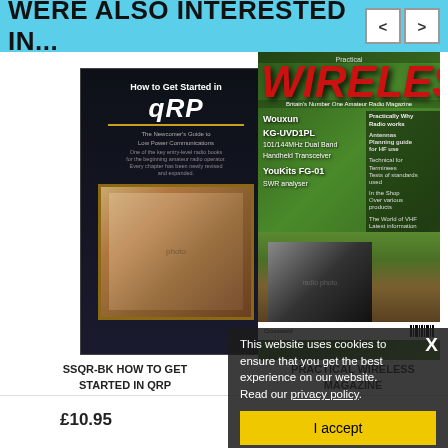WERE ALSO INTERESTED IN...
[Figure (photo): Book cover: How to Get Started in QRP, dark background with photo of person at radio equipment]
[Figure (photo): Practical Wireless magazine cover featuring Wouxun KG-UVD1PL and YouKits FG-01 SWR analyser, with a hand holding a handheld transceiver]
SSQR-BK HOW TO GET STARTED IN QRP
PRACTICAL WIRELESS MAGAZINE
This website uses cookies to ensure that you get the best experience on our website. Read our privacy policy.
I accept
£10.95
£3.99